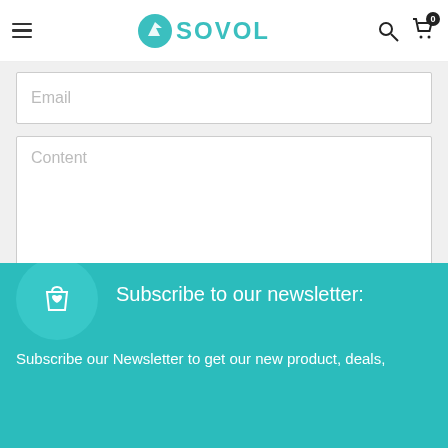SOVOL
[Figure (screenshot): Email input field placeholder showing 'Email']
[Figure (screenshot): Content textarea placeholder showing 'Content' with resize handle]
LEAVE YOUR COMMENT
Subscribe to our newsletter:
Subscribe our Newsletter to get our new product, deals,